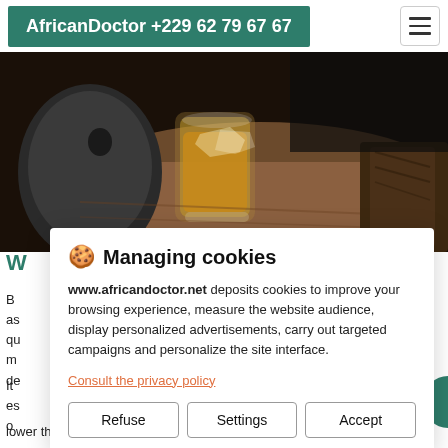AfricanDoctor +229 62 79 67 67
[Figure (photo): Close-up photo of a glass of amber whiskey/spirits with ice on a dark wooden surface, with a dark rock/stone beside it.]
W
B as qu m de
Managing cookies
www.africandoctor.net deposits cookies to improve your browsing experience, measure the website audience, display personalized advertisements, carry out targeted campaigns and personalize the site interface.
Consult the privacy policy
Refuse | Settings | Accept
It es o
lower threshold for “safe” consumption of ethanol.